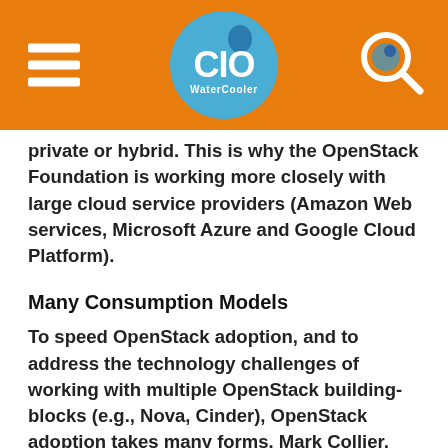[Figure (logo): CIO WaterCooler website header with orange background, hamburger menu icon on left, CIO WaterCooler circular logo in center, and magnifying glass search icon on right]
private or hybrid. This is why the OpenStack Foundation is working more closely with large cloud service providers (Amazon Web services, Microsoft Azure and Google Cloud Platform).
Many Consumption Models
To speed OpenStack adoption, and to address the technology challenges of working with multiple OpenStack building-blocks (e.g., Nova, Cinder), OpenStack adoption takes many forms. Mark Collier, COO of the OpenStack Foundation, said in his keynote that OpenStack is composable, open